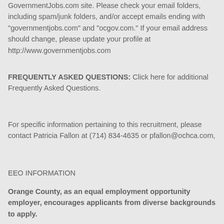recruitment proceeds via email through the GovernmentJobs.com site. Please check your email folders, including spam/junk folders, and/or accept emails ending with "governmentjobs.com" and "ocgov.com." If your email address should change, please update your profile at http://www.governmentjobs.com
FREQUENTLY ASKED QUESTIONS: Click here for additional Frequently Asked Questions.
For specific information pertaining to this recruitment, please contact Patricia Fallon at (714) 834-4635 or pfallon@ochca.com,
EEO INFORMATION
Orange County, as an equal employment opportunity employer, encourages applicants from diverse backgrounds to apply.